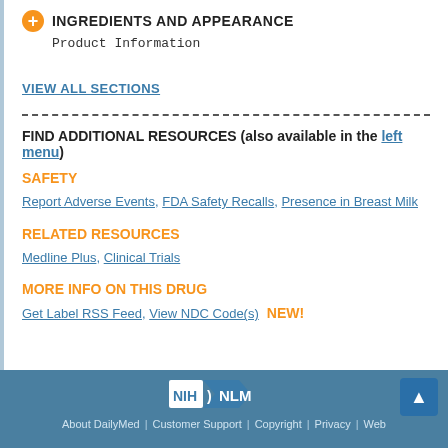INGREDIENTS AND APPEARANCE
Product Information
VIEW ALL SECTIONS
FIND ADDITIONAL RESOURCES (also available in the left menu)
SAFETY
Report Adverse Events, FDA Safety Recalls, Presence in Breast Milk
RELATED RESOURCES
Medline Plus, Clinical Trials
MORE INFO ON THIS DRUG
Get Label RSS Feed, View NDC Code(s)  NEW!
About DailyMed | Customer Support | Copyright | Privacy | Web